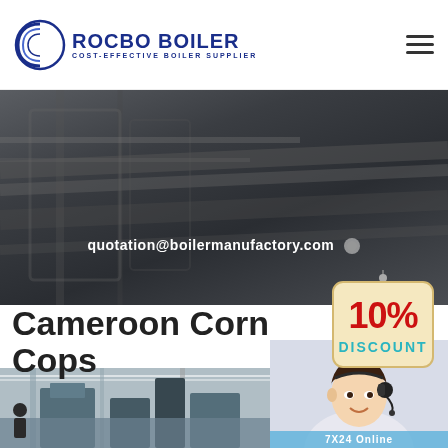[Figure (logo): Rocbo Boiler logo with circular wave icon and text 'ROCBO BOILER - COST-EFFECTIVE BOILER SUPPLIER' in navy blue]
quotation@boilermanufactory.com
[Figure (infographic): 10% DISCOUNT tag/badge in red and teal colors, hanging sign style]
Cameroon Corn Cops
[Figure (photo): Industrial boiler facility interior photo showing large equipment]
[Figure (photo): Customer service representative with headset, 7X24 Online support]